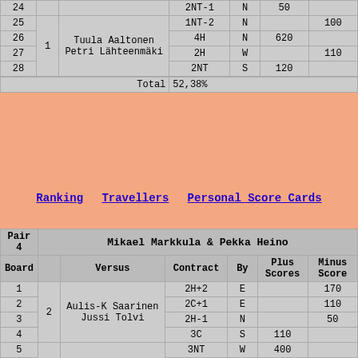| Board |  | Versus | Contract | By | Plus Scores | Minus Scores |
| --- | --- | --- | --- | --- | --- | --- |
| 24 |  |  | 2NT-1 | N | 50 |  |
| 25 | 1 |  | 1NT-2 | N |  | 100 |
| 26 |  | Tuula Aaltonen Petri Lähteenmäki | 4H | N | 620 |  |
| 27 |  |  | 2H | W |  | 110 |
| 28 |  |  | 2NT | S | 120 |  |
|  |  | Total | 52,38% |  |  |  |
Ranking   Travellers   Personal Score Cards
| Board |  | Versus | Contract | By | Plus Scores | Minus Scores |
| --- | --- | --- | --- | --- | --- | --- |
| Pair 4 | Mikael Markkula & Pekka Heino |
| 1 |  |  | 2H+2 | E |  | 170 |
| 2 | 2 | Aulis-K Saarinen Jussi Tolvi | 2C+1 | E |  | 110 |
| 3 |  |  | 2H-1 | N |  | 50 |
| 4 |  |  | 3C | S | 110 |  |
| 5 |  |  | 3NT | W | 400 |  |
| 6 |  | Tuula Aaltonen Petri Lähteenmäki | 2H+1 | S |  | 140 |
| 7 | 1 |  | 3S | N |  | 140 |
| 8 |  |  | 3NT+2 | N |  | 460 |
| 9 |  |  | 2D+4 | S |  | 170 |
| 10 |  | Tuula Helevirta | 3NT+1 | W | 630 |  |